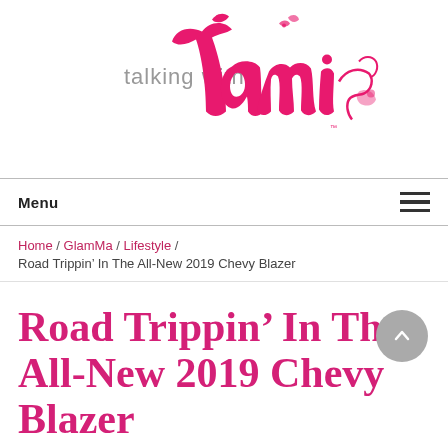[Figure (logo): Talking with Tami blog logo — cursive pink script for 'tami' with decorative flourishes, gray text 'talking with']
Menu ☰
Home / GlamMa / Lifestyle / Road Trippin' In The All-New 2019 Chevy Blazer
Road Trippin' In The All-New 2019 Chevy Blazer